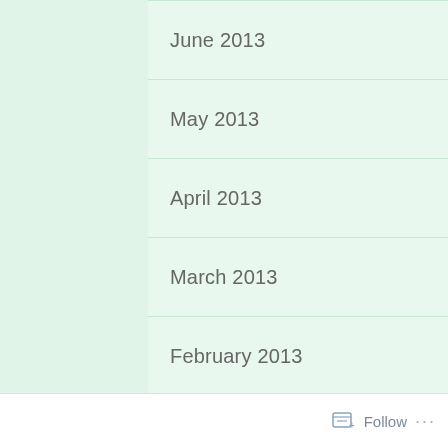June 2013
May 2013
April 2013
March 2013
February 2013
January 2013
December 2012
November 2012
October 2012
September 2012
August 2012
July 2012
Follow